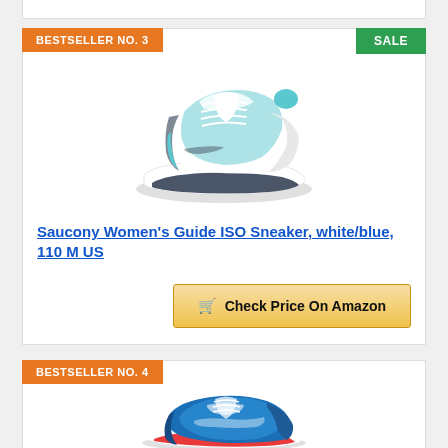BESTSELLER NO. 3
[Figure (photo): Saucony Women's Guide ISO Sneaker in white and teal/blue colorway, side profile view on white background]
Saucony Women's Guide ISO Sneaker, white/blue, 110 M US
Check Price On Amazon
BESTSELLER NO. 4
[Figure (photo): Blue running sneaker, side profile view, blue and white colorway with red sole accents]